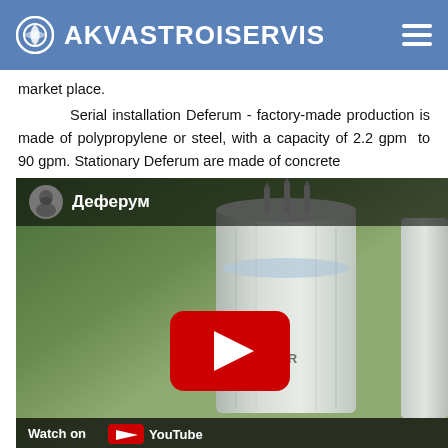AKVASTROISERVIS
market place.
Serial installation Deferum - factory-made production is made of polypropylene or steel, with a capacity of 2.2 gpm to 90 gpm. Stationary Deferum are made of concrete
[Figure (screenshot): Embedded YouTube video thumbnail showing a cylindrical tank/filter equipment. Video title in Russian: Деферум (Deferum). Shows a play button overlay and 'Watch on YouTube' bar at the bottom.]